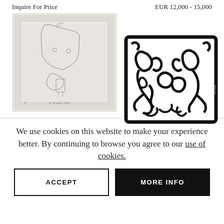Inquire For Price
EUR 12,000 - 15,000
[Figure (illustration): Line drawing artwork showing a figure torso with a hand holding an object, pencil/etching style on gray background, signed at bottom]
[Figure (illustration): Bold black and white graphic print of two intertwined figures in Keith Haring style with heavy black outlines on white background]
We use cookies on this website to make your experience better. By continuing to browse you agree to our use of cookies.
ACCEPT
MORE INFO